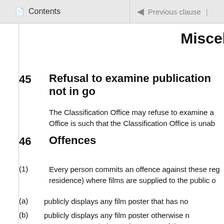Contents | Previous clause |
Miscella...
45  Refusal to examine publication not in go...
The Classification Office may refuse to examine a... Office is such that the Classification Office is unab...
46  Offences
(1) Every person commits an offence against these reg... residence) where films are supplied to the public o...
(a) publicly displays any film poster that has no...
(b) publicly displays any film poster otherwise n... pursuant to regulation 30 in respect of the ap...
(c) publicly displays any film poster in contrave...